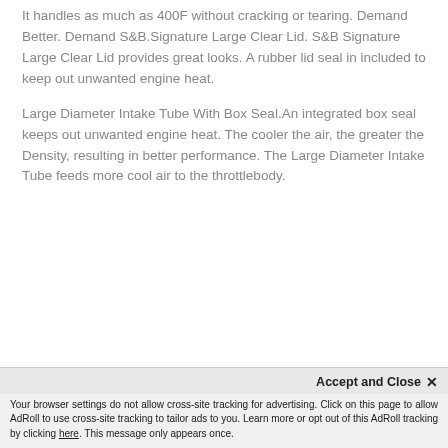It handles as much as 400F without cracking or tearing. Demand Better. Demand S&B.Signature Large Clear Lid. S&B Signature Large Clear Lid provides great looks. A rubber lid seal in included to keep out unwanted engine heat.
Large Diameter Intake Tube With Box Seal.An integrated box seal keeps out unwanted engine heat. The cooler the air, the greater the Density, resulting in better performance. The Large Diameter Intake Tube feeds more cool air to the throttlebody.
Accept and Close ✕
Your browser settings do not allow cross-site tracking for advertising. Click on this page to allow AdRoll to use cross-site tracking to tailor ads to you. Learn more or opt out of this AdRoll tracking by clicking here. This message only appears once.